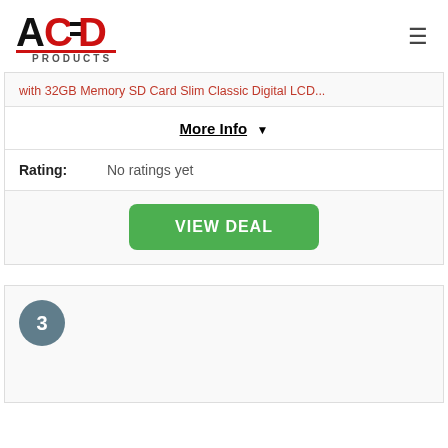ACED PRODUCTS
with 32GB Memory SD Card Slim Classic Digital LCD...
More Info ▼
Rating: No ratings yet
VIEW DEAL
3